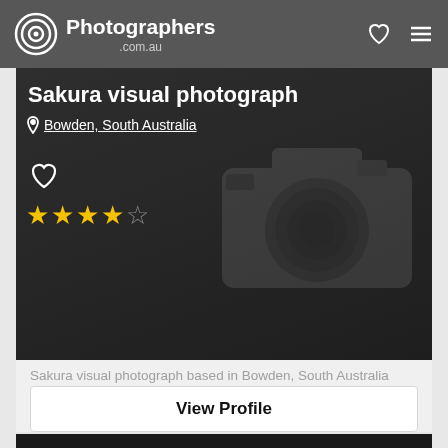Photographers .com.au
Sakura visual photograph
Bowden, South Australia
[Figure (screenshot): Dark photographer profile card with camera placeholder icon, heart icon, and 4-star rating overlay]
Sakura visual photograph based in Bowden, South Australia
View Profile
[Figure (photo): Bottom dark image strip partially visible]